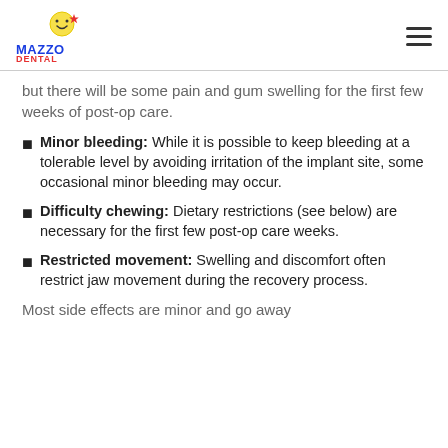Mazzo Dental logo and navigation
but there will be some pain and gum swelling for the first few weeks of post-op care.
Minor bleeding: While it is possible to keep bleeding at a tolerable level by avoiding irritation of the implant site, some occasional minor bleeding may occur.
Difficulty chewing: Dietary restrictions (see below) are necessary for the first few post-op care weeks.
Restricted movement: Swelling and discomfort often restrict jaw movement during the recovery process.
Most side effects are minor and go away